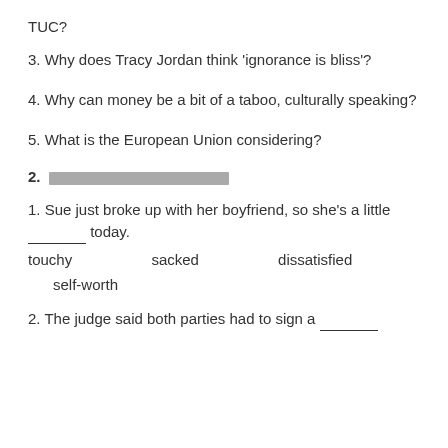TUC?
3. Why does Tracy Jordan think 'ignorance is bliss'?
4. Why can money be a bit of a taboo, culturally speaking?
5. What is the European Union considering?
2. [redacted]
1. Sue just broke up with her boyfriend, so she's a little ________ today.
touchy     sacked     dissatisfied     self-worth
2. The judge said both parties had to sign a _______